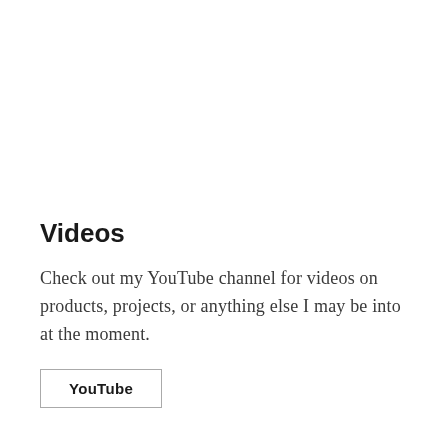Videos
Check out my YouTube channel for videos on products, projects, or anything else I may be into at the moment.
YouTube